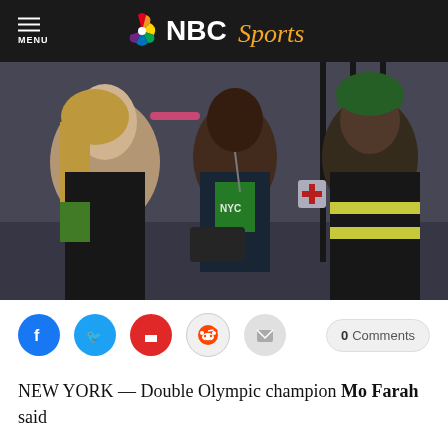NBC Sports
[Figure (photo): Mo Farah being assisted by medical staff and other people after a race, with several people around him including a woman with blonde hair on the left, and a person in a high-visibility yellow jacket on the right.]
0 Comments
NEW YORK — Double Olympic champion Mo Farah said